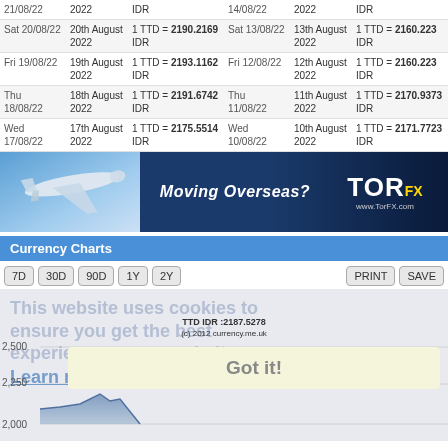| Date | Full Date | Rate | Date | Full Date | Rate |
| --- | --- | --- | --- | --- | --- |
| 21/08/22 | 2022 | IDR | 14/08/22 | 2022 | IDR |
| Sat 20/08/22 | 20th August 2022 | 1 TTD = 2190.2169 IDR | Sat 13/08/22 | 13th August 2022 | 1 TTD = 2160.223 IDR |
| Fri 19/08/22 | 19th August 2022 | 1 TTD = 2193.1162 IDR | Fri 12/08/22 | 12th August 2022 | 1 TTD = 2160.223 IDR |
| Thu 18/08/22 | 18th August 2022 | 1 TTD = 2191.6742 IDR | Thu 11/08/22 | 11th August 2022 | 1 TTD = 2170.9373 IDR |
| Wed 17/08/22 | 17th August 2022 | 1 TTD = 2175.5514 IDR | Wed 10/08/22 | 10th August 2022 | 1 TTD = 2171.7723 IDR |
[Figure (photo): TorFX advertisement banner showing airplane and text 'Moving Overseas?' with TorFX logo and www.TorFX.com]
Currency Charts
[Figure (continuous-plot): TTD to IDR currency chart with cookie consent overlay showing 'This website uses cookies to ensure you get the best experience on our website. Learn more' with 'Got it!' button. Chart shows TTD IDR: 2187.5278 label. Y-axis shows values 2,500, 2,250, 2,000. Blue area chart visible at bottom.]